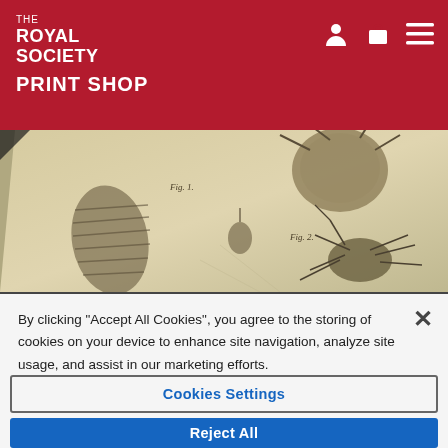THE ROYAL SOCIETY PRINT SHOP
[Figure (illustration): Vintage scientific illustration of insects (flea, louse, tick-like creatures) on aged paper, shown at an angle as if printed on a card or plate]
By clicking “Accept All Cookies”, you agree to the storing of cookies on your device to enhance site navigation, analyze site usage, and assist in our marketing efforts.
Cookies Settings
Reject All